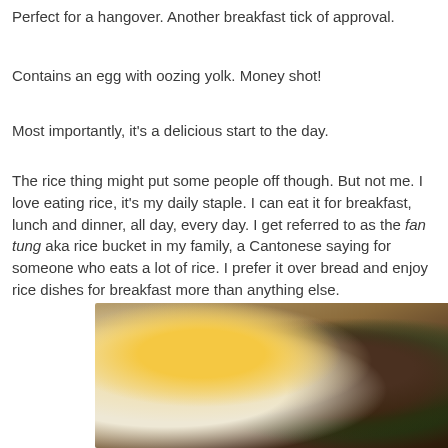Perfect for a hangover. Another breakfast tick of approval.
Contains an egg with oozing yolk. Money shot!
Most importantly, it's a delicious start to the day.
The rice thing might put some people off though. But not me. I love eating rice, it's my daily staple. I can eat it for breakfast, lunch and dinner, all day, every day. I get referred to as the fan tung aka rice bucket in my family, a Cantonese saying for someone who eats a lot of rice. I prefer it over bread and enjoy rice dishes for breakfast more than anything else.
[Figure (photo): A food photo showing a rice dish with a fried egg with oozing yolk, ground meat, green beans and other ingredients on a plate]